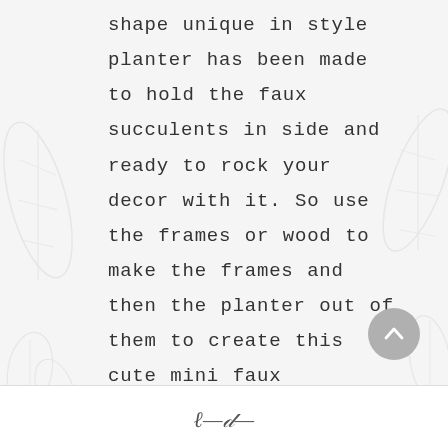shape unique in style planter has been made to hold the faux succulents in side and ready to rock your decor with it. So use the frames or wood to make the frames and then the planter out of them to create this cute mini faux succulent garden out of it. Complete tutorial here;myanythingandeverything [...]
[Figure (illustration): Decorative watermark of succulent/leaf illustrations in light gray on background]
[Figure (illustration): Circular scroll-to-top button with upward chevron arrow, gray background]
signature/logo script text at bottom